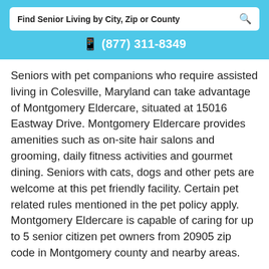Find Senior Living by City, Zip or County
(877) 311-8349
Seniors with pet companions who require assisted living in Colesville, Maryland can take advantage of Montgomery Eldercare, situated at 15016 Eastway Drive. Montgomery Eldercare provides amenities such as on-site hair salons and grooming, daily fitness activities and gourmet dining. Seniors with cats, dogs and other pets are welcome at this pet friendly facility. Certain pet related rules mentioned in the pet policy apply. Montgomery Eldercare is capable of caring for up to 5 senior citizen pet owners from 20905 zip code in Montgomery county and nearby areas.